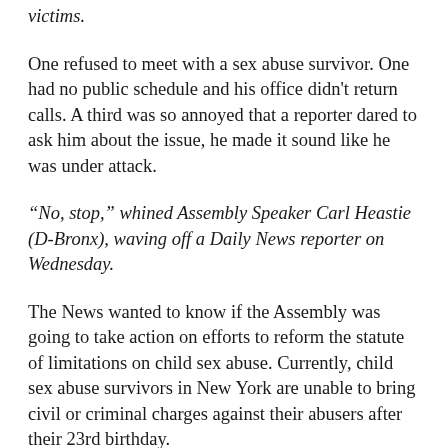victims.
One refused to meet with a sex abuse survivor.  One had no public schedule and his office didn't return calls.  A third was so annoyed that a reporter dared to ask him about the issue, he made it sound like he was under attack.
“No, stop,” whined Assembly Speaker Carl Heastie (D-Bronx), waving off a Daily News reporter on Wednesday.
The News wanted to know if the Assembly was going to take action on efforts to reform the statute of limitations on child sex abuse. Currently, child sex abuse survivors in New York are unable to bring civil or criminal charges against their abusers after their 23rd birthday.
The legislative session ends on June 16.  Between now and then, lawmakers are generally scheduled to work only three